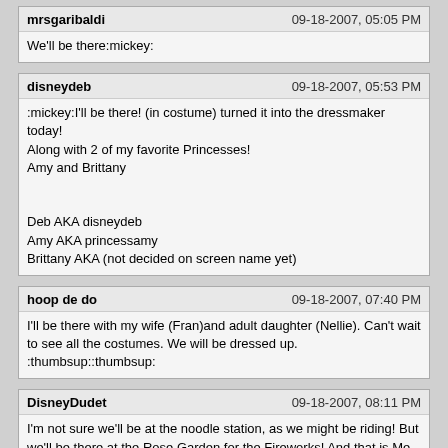| username | date | body |
| --- | --- | --- |
| mrsgaribaldi | 09-18-2007, 05:05 PM | We'll be there:mickey: |
| disneydeb | 09-18-2007, 05:53 PM | :mickey:I'll be there! (in costume) turned it into the dressmaker today!
Along with 2 of my favorite Princesses!
Amy and Brittany

Deb AKA disneydeb
Amy AKA princessamy
Brittany AKA (not decided on screen name yet) |
| hoop de do | 09-18-2007, 07:40 PM | I'll be there with my wife (Fran)and adult daughter (Nellie). Can't wait to see all the costumes. We will be dressed up. :thumbsup::thumbsup: |
| DisneyDudet | 09-18-2007, 08:11 PM | I'm not sure we'll be at the noodle station, as we might be riding! But we'll be there at the Rose Garden for the Fireworks! And that is Me, Mom, and Dad. |
| Beast_fanatic | 09-18-2007, 08:15 PM | Rhonda & Robert will be there! :yay: |
| ElenitaB | 09-18-2007, 08:29 PM |  |